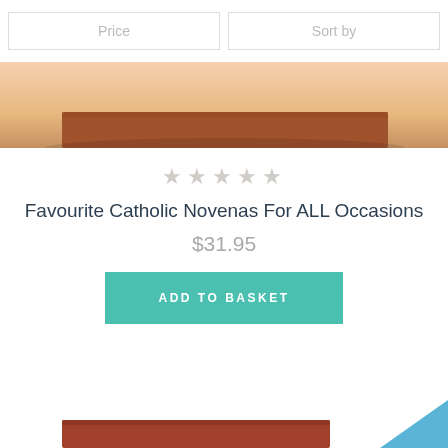Price
Sort by
[Figure (photo): Partial product image showing bottom of a brown book on a wooden surface background (peach/tan tones), cropped at top of page.]
★★★★★ (5 empty stars rating)
Favourite Catholic Novenas For ALL Occasions
$31.95
ADD TO BASKET
[Figure (photo): Partial bottom preview of another product showing a red/brown book bottom-left and a blue triangle/arrow shape bottom-right.]